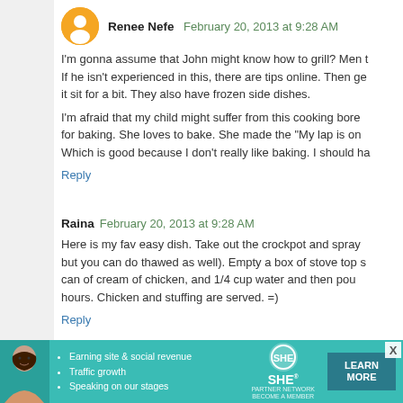Renee Nefe  February 20, 2013 at 9:28 AM
I'm gonna assume that John might know how to grill? Men t… If he isn't experienced in this, there are tips online. Then ge… it sit for a bit. They also have frozen side dishes.

I'm afraid that my child might suffer from this cooking bore… for baking. She loves to bake. She made the "My lap is on… Which is good because I don't really like baking. I should ha…
Reply
Raina  February 20, 2013 at 9:28 AM
Here is my fav easy dish. Take out the crockpot and spray… but you can do thawed as well). Empty a box of stove top s… can of cream of chicken, and 1/4 cup water and then pou… hours. Chicken and stuffing are served. =)
Reply
Alyssa  February 20, 2013 at 9:30 AM
Frozen. Foods. Aisle.
[Figure (infographic): SHE Partner Network advertisement banner with woman photo, bullet points about earning site & social revenue, traffic growth, speaking on stages, SHE logo, and LEARN MORE button]